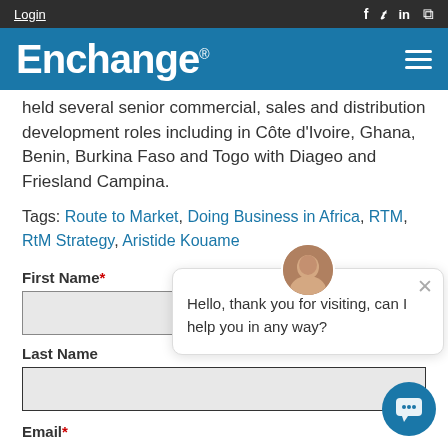Login | f tw in rss | Enchange®
held several senior commercial, sales and distribution development roles including in Côte d'Ivoire, Ghana, Benin, Burkina Faso and Togo with Diageo and Friesland Campina.
Tags: Route to Market, Doing Business in Africa, RTM, RtM Strategy, Aristide Kouame
First Name*
Last Name
[Figure (screenshot): Chat popup with avatar showing Hello, thank you for visiting, can I help you in any way?]
Email*